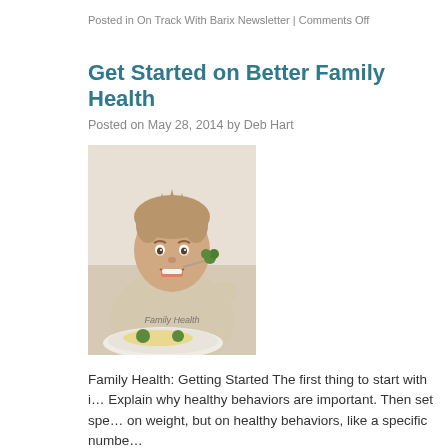Posted in On Track With Barix Newsletter | Comments Off
Get Started on Better Family Health
Posted on May 28, 2014 by Deb Hart
[Figure (photo): Young boy smiling and eating broccoli with a fork, with a plate of food in front of him. Watermark text reads 'Family Health'.]
Family Health: Getting Started The first thing to start with i… Explain why healthy behaviors are important. Then set spe… on weight, but on healthy behaviors, like a specific numbe…